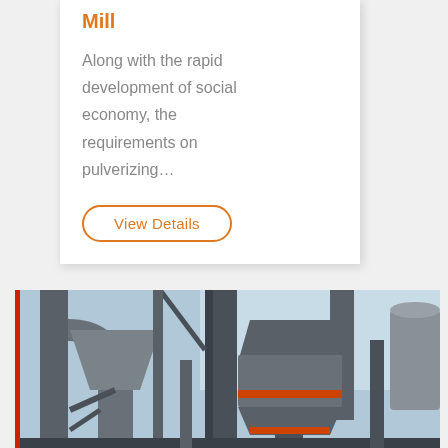Mill
Along with the rapid development of social economy, the requirements on pulverizing…
View Details
[Figure (photo): Industrial milling machinery with large cylindrical grinding mill units, pipes, and structural steel components at an industrial facility, viewed outdoors against a partly cloudy sky.]